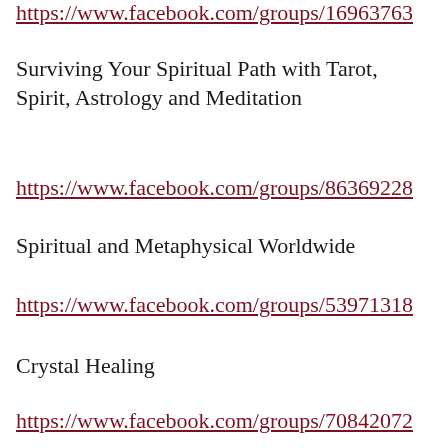https://www.facebook.com/groups/16963763…
Surviving Your Spiritual Path with Tarot, Spirit, Astrology and Meditation
https://www.facebook.com/groups/86369228…
Spiritual and Metaphysical Worldwide
https://www.facebook.com/groups/53971318…
Crystal Healing
https://www.facebook.com/groups/70842072…